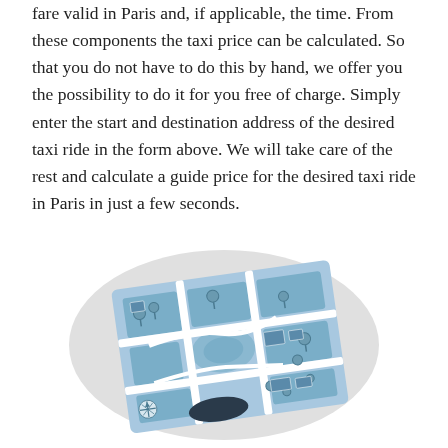fare valid in Paris and, if applicable, the time. From these components the taxi price can be calculated. So that you do not have to do this by hand, we offer you the possibility to do it for you free of charge. Simply enter the start and destination address of the desired taxi ride in the form above. We will take care of the rest and calculate a guide price for the desired taxi ride in Paris in just a few seconds.
[Figure (illustration): An illustrated map of Paris streets shown as a tilted/perspective map graphic with blue road blocks, white streets, green tree icons, and a compass rose in the bottom-left corner, on a light grey oval background.]